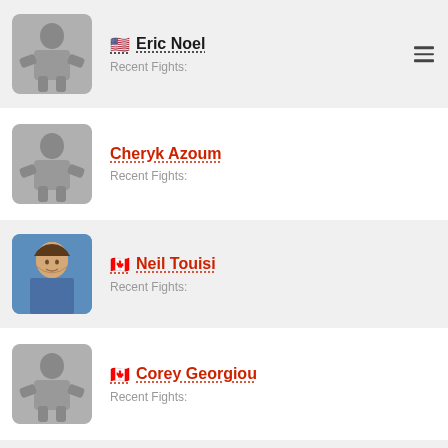[Figure (photo): Fighter profile photo placeholder - grayscale martial artist silhouette]
🇺🇸 Eric Noel
Recent Fights:
[Figure (photo): Fighter profile photo placeholder - grayscale martial artist silhouette]
Cheryk Azoum
Recent Fights:
[Figure (photo): Fighter profile photo - young man with light beard, blue background]
🇨🇦 Neil Touisi
Recent Fights:
[Figure (photo): Fighter profile photo placeholder - grayscale martial artist silhouette]
🇨🇦 Corey Georgiou
Recent Fights:
[Figure (photo): Fighter profile photo placeholder - grayscale martial artist silhouette]
Fred Calixte